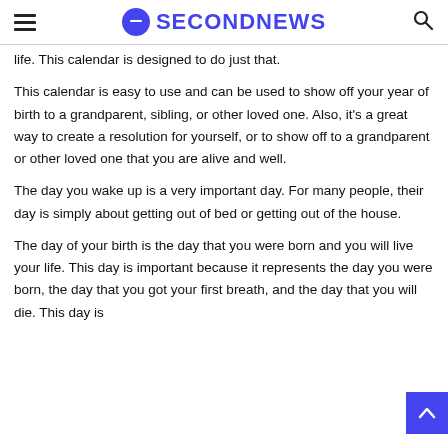SECONDNEWS
life. This calendar is designed to do just that.
This calendar is easy to use and can be used to show off your year of birth to a grandparent, sibling, or other loved one. Also, it's a great way to create a resolution for yourself, or to show off to a grandparent or other loved one that you are alive and well.
The day you wake up is a very important day. For many people, their day is simply about getting out of bed or getting out of the house.
The day of your birth is the day that you were born and you will live your life. This day is important because it represents the day you were born, the day that you got your first breath, and the day that you will die. This day is